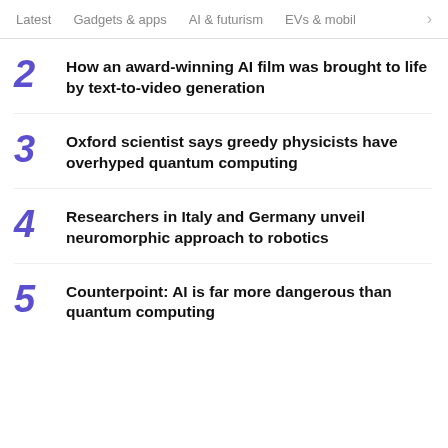Latest  Gadgets & apps  AI & futurism  EVs & mobil  >
2 How an award-winning AI film was brought to life by text-to-video generation
3 Oxford scientist says greedy physicists have overhyped quantum computing
4 Researchers in Italy and Germany unveil neuromorphic approach to robotics
5 Counterpoint: AI is far more dangerous than quantum computing